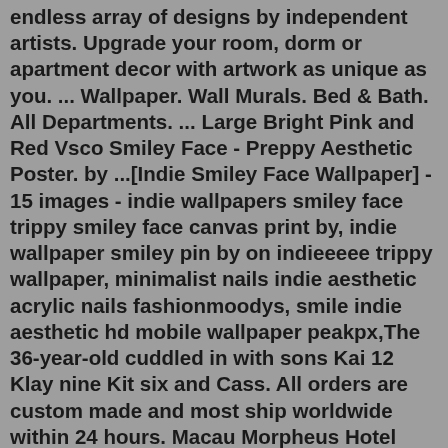endless array of designs by independent artists. Upgrade your room, dorm or apartment decor with artwork as unique as you. ... Wallpaper. Wall Murals. Bed & Bath. All Departments. ... Large Bright Pink and Red Vsco Smiley Face - Preppy Aesthetic Poster. by ...[Indie Smiley Face Wallpaper] - 15 images - indie wallpapers smiley face trippy smiley face canvas print by, indie wallpaper smiley pin by on indieeeee trippy wallpaper, minimalist nails indie aesthetic acrylic nails fashionmoodys, smile indie aesthetic hd mobile wallpaper peakpx,The 36-year-old cuddled in with sons Kai 12 Klay nine Kit six and Cass. All orders are custom made and most ship worldwide within 24 hours. Macau Morpheus Hotel Takashi Murakami Flowers Smiley Faces Design Icon Mural Illustration Kaikai Kiki Gall Flower Smiley Face Wallpaper Flower Wallpaper SmileyBio copy and paste aesthetic symbols like borders, heart ('*•.¸♡ ♡¸.•*'), Tumblr, Twitter, usernames in just one click. Click on an aesthetic emoji text symbol to copy it to the clipboard & insert it to an input element. Please also check out